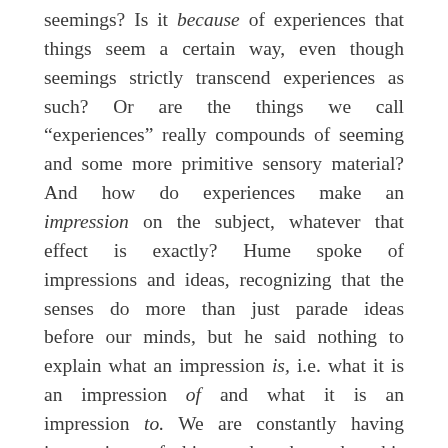seemings? Is it because of experiences that things seem a certain way, even though seemings strictly transcend experiences as such? Or are the things we call “experiences” really compounds of seeming and some more primitive sensory material? And how do experiences make an impression on the subject, whatever that effect is exactly? Hume spoke of impressions and ideas, recognizing that the senses do more than just parade ideas before our minds, but he said nothing to explain what an impression is, i.e. what it is an impression of and what it is an impression to. We are constantly having impressions of this or that, but what this operation amounts to remains obscure. Metaphorically, it is something like an imprinting (a type of denting), but that tells us little of any